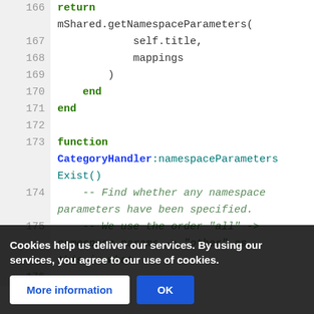[Figure (screenshot): Code editor screenshot showing lines 166–176 of source code. Line 166: return keyword (green bold). Continuation: mShared.getNamespaceParameters(. Line 167: self.title,. Line 168: mappings. Line 169: ). Line 170: end (green bold). Line 171: end (green bold). Line 172: blank. Line 173: function (green bold), then CategoryHandler (blue bold) :namespaceParametersExist(). Line 174: comment -- Find whether any namespace parameters have been specified. Line 175 (partially visible, dimmed by overlay): -- We use the order 'all' -> namespace params -> 'other' as this is what. Line 176: (partially visible) --]
Cookies help us deliver our services. By using our services, you agree to our use of cookies.